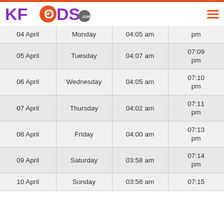KFOODS.com
| Date | Day | Sehri | Iftar |
| --- | --- | --- | --- |
| 04 April | Monday | 04:05 am | pm |
| 05 April | Tuesday | 04:07 am | 07:09 pm |
| 06 April | Wednesday | 04:05 am | 07:10 pm |
| 07 April | Thursday | 04:02 am | 07:11 pm |
| 08 April | Friday | 04:00 am | 07:13 pm |
| 09 April | Saturday | 03:58 am | 07:14 pm |
| 10 April | Sunday | 03:56 am | 07:15 |